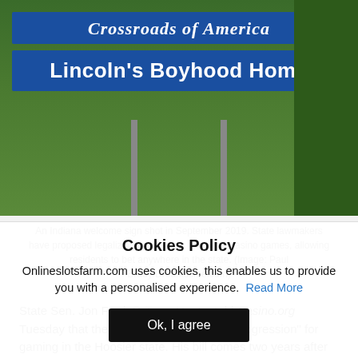[Figure (photo): Indiana welcome sign reading 'Crossroads of America' and 'Lincoln's Boyhood Home' on blue signs with poles in front of green grass and trees]
An Indiana welcome sign shot in September 2019. State lawmakers have proposed legalizing online slots and table casino games, allowing residents to bet anywhere in the state. (Image: Paul Brady/Dreamstime.com)
State Sen. Jon Ford, R-Terre Haute, told Casino.org Tuesday that the legislation is a "natural progression" for gaming in the Hoosier state. His bill comes two years after the General Assembly passed an expanded gaming bill that legalized sports betting.
Cookies Policy
Onlineslotsfarm.com uses cookies, this enables us to provide you with a personalised experience. Read More
Ok, I agree